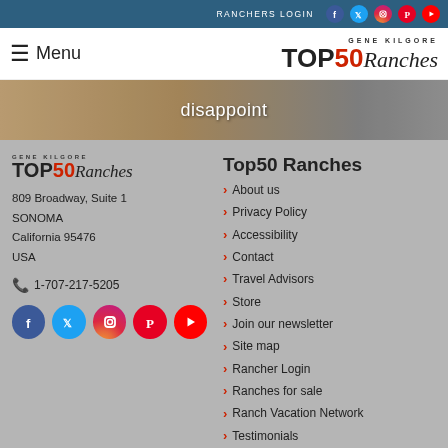RANCHERS LOGIN
☰ Menu | GENE KILGORE TOP50Ranches
[Figure (photo): Hero banner image with text 'disappoint' overlaid, showing textiles/rugs]
[Figure (logo): Gene Kilgore TOP50Ranches logo in footer]
809 Broadway, Suite 1
SONOMA
California 95476
USA
1-707-217-5205
Top50 Ranches
About us
Privacy Policy
Accessibility
Contact
Travel Advisors
Store
Join our newsletter
Site map
Rancher Login
Ranches for sale
Ranch Vacation Network
Testimonials